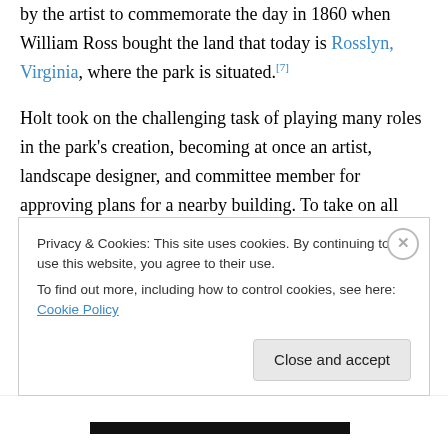by the artist to commemorate the day in 1860 when William Ross bought the land that today is Rosslyn, Virginia, where the park is situated.[7]
Holt took on the challenging task of playing many roles in the park's creation, becoming at once an artist, landscape designer, and committee member for approving plans for a nearby building. To take on all three roles possibly had never been done before by an artist, thus the park and its designer remain important to the history of art.
“I was the landscape designer as well as the sculptor, so
Privacy & Cookies: This site uses cookies. By continuing to use this website, you agree to their use.
To find out more, including how to control cookies, see here: Cookie Policy
Close and accept